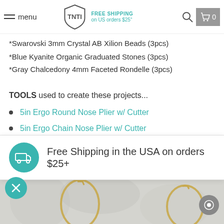menu | FREE SHIPPING on US orders $25+
*Swarovski 3mm Crystal AB Xilion Beads (3pcs)
*Blue Kyanite Organic Graduated Stones (3pcs)
*Gray Chalcedony 4mm Faceted Rondelle (3pcs)
TOOLS used to create these projects...
5in Ergo Round Nose Plier w/ Cutter
5in Ergo Chain Nose Plier w/ Cutter
5in Flush Cutter
1.5mm Short Jaw Hole Punch Plier
Free Shipping in the USA on orders $25+
[Figure (photo): Gold wire jewelry components on white/gray background]